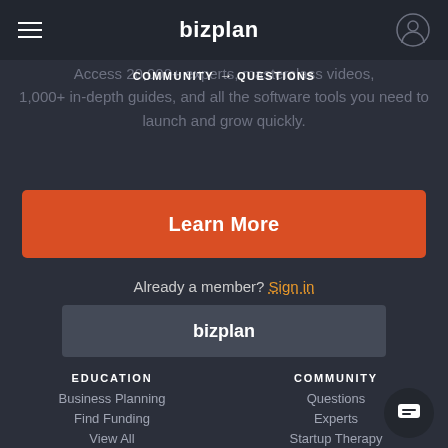bizplan
Access 20,000+ experts, masterclass videos, 1,000+ in-depth guides, and all the software tools you need to launch and grow quickly.
COMMUNITY → QUESTIONS
Learn More
Already a member? Sign in
[Figure (logo): bizplan logo in footer card area]
EDUCATION
COMMUNITY
Business Planning
Find Funding
View All
Questions
Experts
Startup Therapy